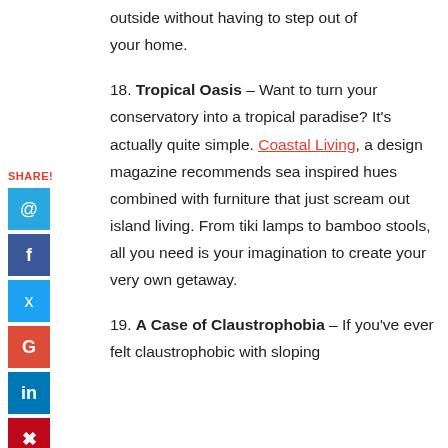outside without having to step out of your home.
18. Tropical Oasis – Want to turn your conservatory into a tropical paradise? It's actually quite simple. Coastal Living, a design magazine recommends sea inspired hues combined with furniture that just scream out island living. From tiki lamps to bamboo stools, all you need is your imagination to create your very own getaway.
19. A Case of Claustrophobia – If you've ever felt claustrophobic with sloping